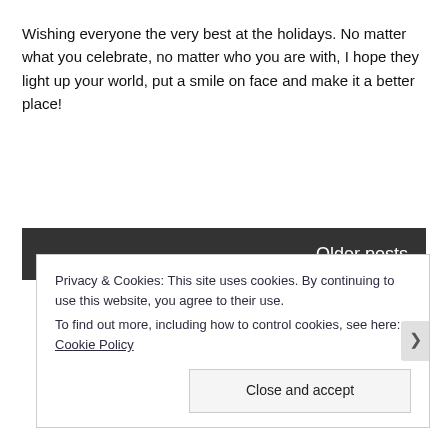Wishing everyone the very best at the holidays. No matter what you celebrate, no matter who you are with, I hope they light up your world, put a smile on face and make it a better place!
Older posts
Privacy & Cookies: This site uses cookies. By continuing to use this website, you agree to their use.
To find out more, including how to control cookies, see here: Cookie Policy
Close and accept